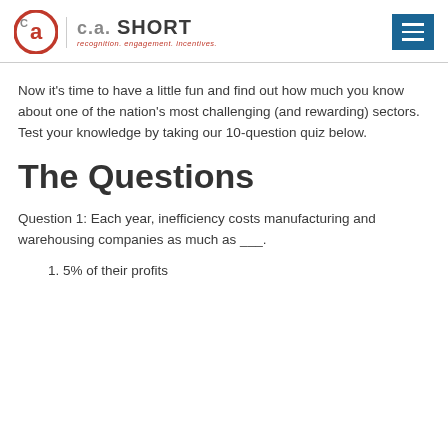C.A. SHORT — recognition. engagement. incentives.
Now it's time to have a little fun and find out how much you know about one of the nation's most challenging (and rewarding) sectors. Test your knowledge by taking our 10-question quiz below.
The Questions
Question 1: Each year, inefficiency costs manufacturing and warehousing companies as much as ___.
1. 5% of their profits